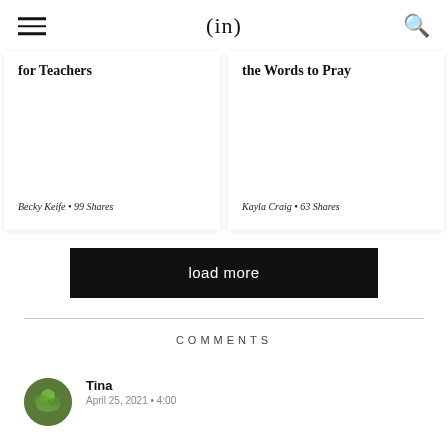(in)
for Teachers
Becky Keife • 99 Shares
the Words to Pray
Kayla Craig • 63 Shares
load more
COMMENTS
Tina